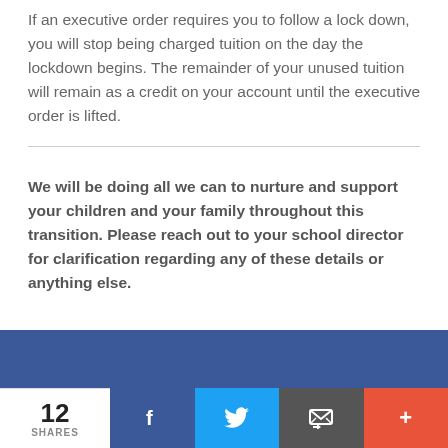If an executive order requires you to follow a lock down, you will stop being charged tuition on the day the lockdown begins. The remainder of your unused tuition will remain as a credit on your account until the executive order is lifted.
We will be doing all we can to nurture and support your children and your family throughout this transition. Please reach out to your school director for clarification regarding any of these details or anything else.
[Figure (other): Blue social media sharing bar with Facebook, Twitter, email, and more buttons. Shows 12 SHARES count.]